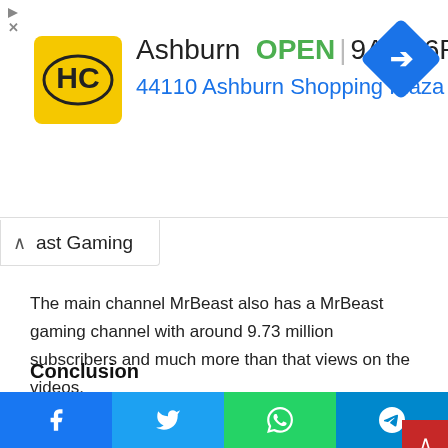[Figure (infographic): Advertisement banner for HC auto parts store in Ashburn. Shows store logo (HC in yellow circle), text 'Ashburn OPEN 9AM-6PM', address '44110 Ashburn Shopping Plaza 1.', blue diamond direction arrow icon, and ad skip controls (play and X buttons).]
ast Gaming
The main channel MrBeast also has a MrBeast gaming channel with around 9.73 million subscribers and much more than that views on the videos.
Conclusion
[Figure (photo): Photo showing a person wearing a blue/grey baseball cap, with dark background. Left portion shows dark background with blue tones and a vertical divider.]
Social share buttons: Facebook, Twitter, WhatsApp, Telegram